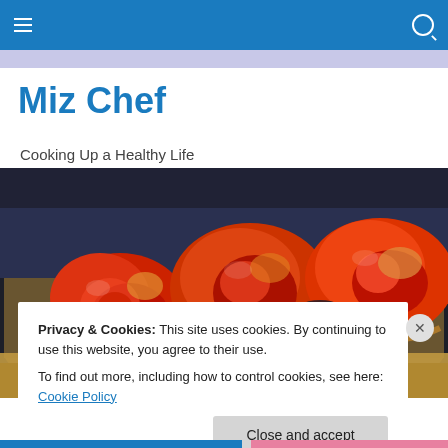Miz Chef — navigation bar with hamburger menu and search icon
Miz Chef
Cooking Up a Healthy Life
[Figure (photo): Close-up photo of a roasted vegetable tart with tomatoes and peppers on a dark background]
Privacy & Cookies: This site uses cookies. By continuing to use this website, you agree to their use.
To find out more, including how to control cookies, see here: Cookie Policy
[Close and accept]